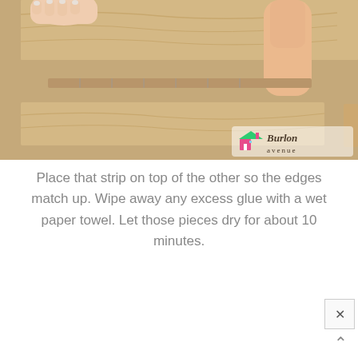[Figure (photo): Hands placing wooden strips on a brown surface, aligning edges. A 'Burlon Avenue' logo with a colorful house icon is visible in the bottom-right corner of the photo.]
Place that strip on top of the other so the edges match up. Wipe away any excess glue with a wet paper towel. Let those pieces dry for about 10 minutes.